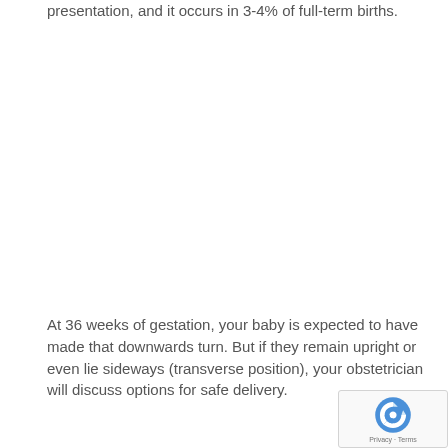presentation, and it occurs in 3-4% of full-term births.
At 36 weeks of gestation, your baby is expected to have made that downwards turn. But if they remain upright or even lie sideways (transverse position), your obstetrician will discuss options for safe delivery.